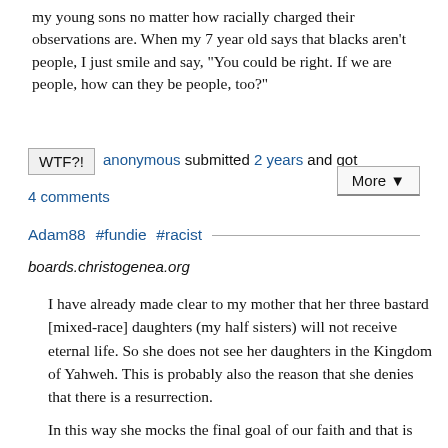my young sons no matter how racially charged their observations are. When my 7 year old says that blacks aren't people, I just smile and say, "You could be right. If we are people, how can they be people, too?"
WTF?! anonymous submitted 2 years and got
4 comments
More ▼
Adam88 #fundie #racist
boards.christogenea.org
I have already made clear to my mother that her three bastard [mixed-race] daughters (my half sisters) will not receive eternal life. So she does not see her daughters in the Kingdom of Yahweh. This is probably also the reason that she denies that there is a resurrection.
In this way she mocks the final goal of our faith and that is